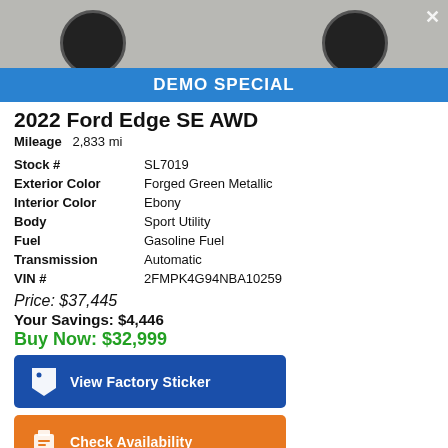[Figure (photo): Top portion of a vehicle (wheels/tires visible) shown in a photo strip at the top of the listing]
DEMO SPECIAL
2022 Ford Edge SE AWD
Mileage  2,833 mi
| Stock # | SL7019 |
| Exterior Color | Forged Green Metallic |
| Interior Color | Ebony |
| Body | Sport Utility |
| Fuel | Gasoline Fuel |
| Transmission | Automatic |
| VIN # | 2FMPK4G94NBA10259 |
Price: $37,445
Your Savings: $4,446
Buy Now: $32,999
View Factory Sticker
Check Availability
1 2 3 4 5 6